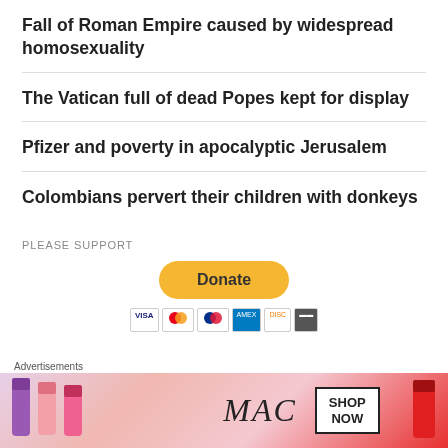Fall of Roman Empire caused by widespread homosexuality
The Vatican full of dead Popes kept for display
Pfizer and poverty in apocalyptic Jerusalem
Colombians pervert their children with donkeys
PLEASE SUPPORT
[Figure (other): PayPal Donate button with yellow rounded rectangle and payment card icons below (VISA, Mastercard, Maestro, American Express, Discover)]
[Figure (other): Advertisement banner: Advertisements label above MAC cosmetics ad showing lipsticks with SHOP NOW button]